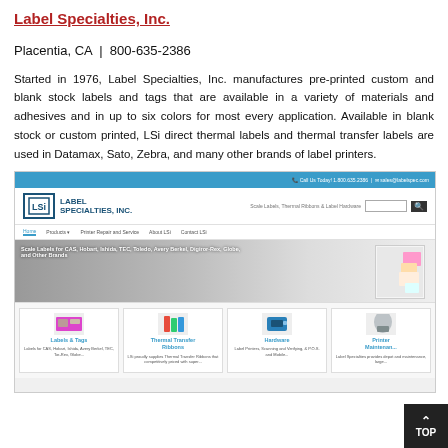Label Specialties, Inc.
Placentia, CA  |  800-635-2386
Started in 1976, Label Specialties, Inc. manufactures pre-printed custom and blank stock labels and tags that are available in a variety of materials and adhesives and in up to six colors for most every application. Available in blank stock or custom printed, LSi direct thermal labels and thermal transfer labels are used in Datamax, Sato, Zebra, and many other brands of label printers.
[Figure (screenshot): Screenshot of the Label Specialties, Inc. website showing the header with logo, navigation bar, a hero banner for scale labels, and four product category cards: Labels & Tags, Thermal Transfer Ribbons, Hardware, and Printer Maintenance.]